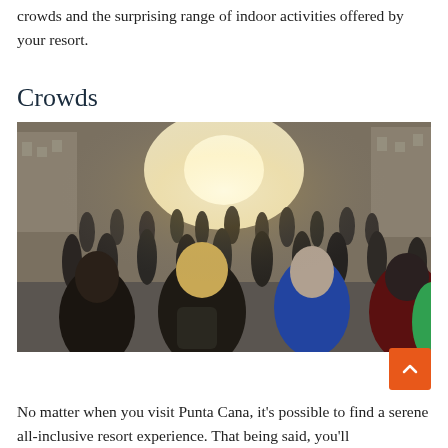crowds and the surprising range of indoor activities offered by your resort.
Crowds
[Figure (photo): A large crowd of people walking down a busy urban street, viewed from behind, with bright sunlight in the background. Several people are wearing backpacks.]
No matter when you visit Punta Cana, it's possible to find a serene all-inclusive resort experience. That being said, you'll